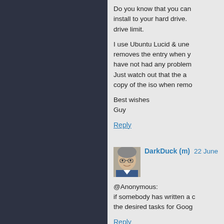Do you know that you can install to your hard drive. drive limit.
I use Ubuntu Lucid & une removes the entry when y have not had any problem Just watch out that the a copy of the iso when remo
Best wishes
Guy
Reply
[Figure (photo): Profile photo of DarkDuck (m), a man with glasses]
DarkDuck (m)   22 June
@Anonymous:
if somebody has written a the desired tasks for Goog
Reply